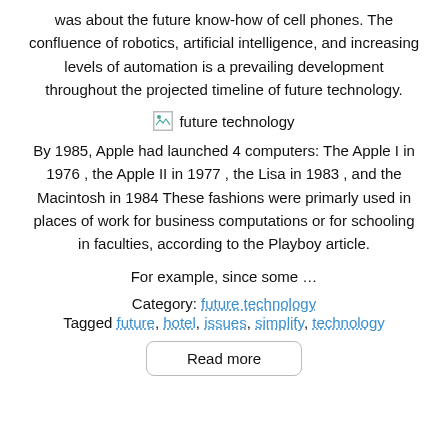was about the future know-how of cell phones. The confluence of robotics, artificial intelligence, and increasing levels of automation is a prevailing development throughout the projected timeline of future technology.
[Figure (photo): Broken image placeholder with alt text 'future technology']
By 1985, Apple had launched 4 computers: The Apple I in 1976 , the Apple II in 1977 , the Lisa in 1983 , and the Macintosh in 1984 These fashions were primarly used in places of work for business computations or for schooling in faculties, according to the Playboy article.
For example, since some …
Category: future technology
Tagged future, hotel, issues, simplify, technology
Read more